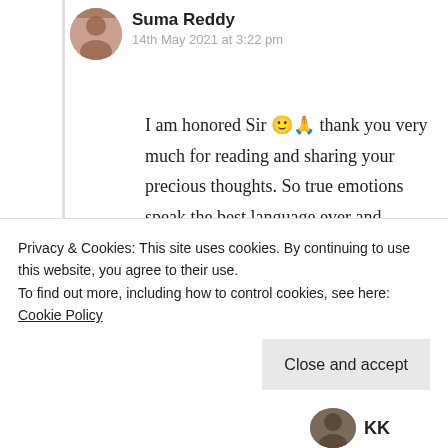Suma Reddy
14th May 2021 at 3:22 pm
I am honored Sir 🙂🙏 thank you very much for reading and sharing your precious thoughts. So true emotions speak the best language ever and animals are greatly sensible than human. Thanks again 😇💝
★ Liked by 1 person
Log in to Reply
Privacy & Cookies: This site uses cookies. By continuing to use this website, you agree to their use.
To find out more, including how to control cookies, see here: Cookie Policy
Close and accept
KK